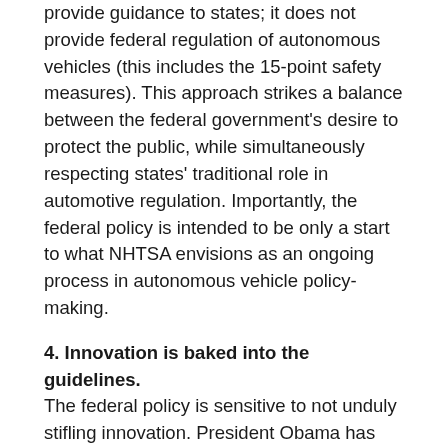The federal policy is intended to provide guidance to states; it does not provide federal regulation of autonomous vehicles (this includes the 15-point safety measures). This approach strikes a balance between the federal government's desire to protect the public, while simultaneously respecting states' traditional role in automotive regulation. Importantly, the federal policy is intended to be only a start to what NHTSA envisions as an ongoing process in autonomous vehicle policy-making.
4. Innovation is baked into the guidelines.
The federal policy is sensitive to not unduly stifling innovation. President Obama has pledged to protect innovation...